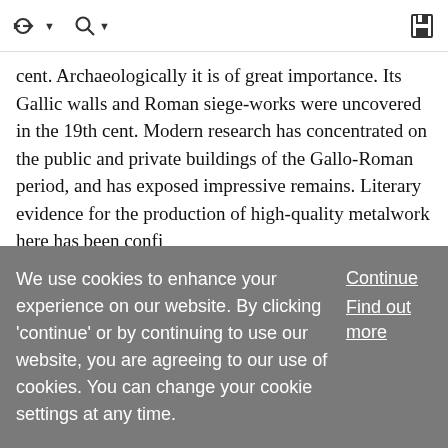[toolbar with navigation icons]
cent. Archaeologically it is of great importance. Its Gallic walls and Roman siege-works were uncovered in the 19th cent. Modern research has concentrated on the public and private buildings of the Gallo-Roman period, and has exposed impressive remains. Literary evidence for the production of high-quality metalwork here has been confi ... Show More
Aletrium
We use cookies to enhance your experience on our website. By clicking 'continue' or by continuing to use our website, you are agreeing to our use of cookies. You can change your cookie settings at any time.